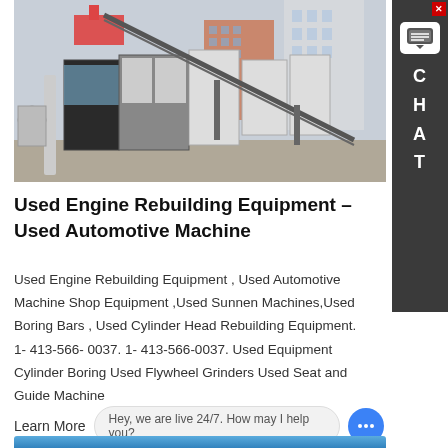[Figure (photo): Outdoor industrial/construction equipment yard showing large modular container units, steel structural frames, conveyor belt structure, and industrial machinery. Buildings visible in the background.]
Used Engine Rebuilding Equipment – Used Automotive Machine
Used Engine Rebuilding Equipment , Used Automotive Machine Shop Equipment ,Used Sunnen Machines,Used Boring Bars , Used Cylinder Head Rebuilding Equipment. 1- 413-566- 0037. 1- 413-566-0037. Used Equipment Cylinder Boring Used Flywheel Grinders Used Seat and Guide Machine
Learn More
Hey, we are live 24/7. How may I help you?